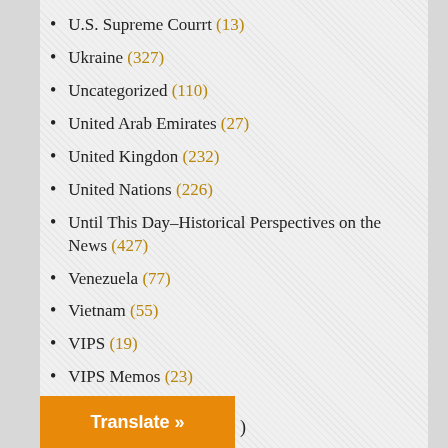U.S. Supreme Courrt (13)
Ukraine (327)
Uncategorized (110)
United Arab Emirates (27)
United Kingdon (232)
United Nations (226)
Until This Day–Historical Perspectives on the News (427)
Venezuela (77)
Vietnam (55)
VIPS (19)
VIPS Memos (23)
War Crimes (45)
WikiLeaks (619)
WikiLeaks Series (12)
Winter Fund Drive (6)
WMD (12)
Women (47)
Translate »